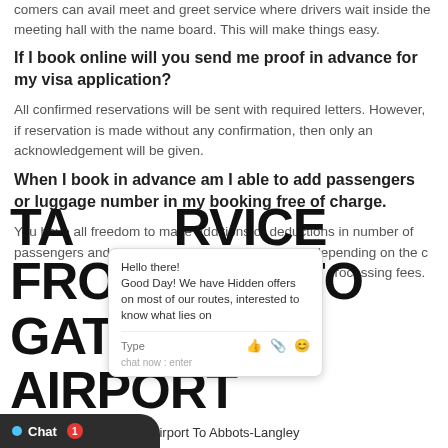comers can avail meet and greet service where drivers wait inside the meeting hall with the name board. This will make things easy.
If I book online will you send me proof in advance for my visa application?
All confirmed reservations will be sent with required letters. However, if reservation is made without any confirmation, then only an acknowledgement will be given.
When I book in advance am I able to add passengers or luggage number in my booking free of charge.
You have all freedom to make additions or deductions in number of passengers and luggage. Your fare will be revised depending on the changes are subject to small processing fees.
TAXI SERVICE FROM AND TO GATWICK AIRPORT
Transfers from Gatwick Airport To Abbots-Langley